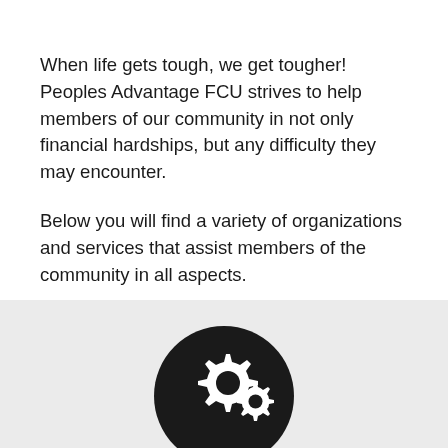When life gets tough, we get tougher! Peoples Advantage FCU strives to help members of our community in not only financial hardships, but any difficulty they may encounter.
Below you will find a variety of organizations and services that assist members of the community in all aspects.
[Figure (illustration): A dark circular icon containing white gear/cog symbols, partially visible at the bottom of the page over a light grey background section.]